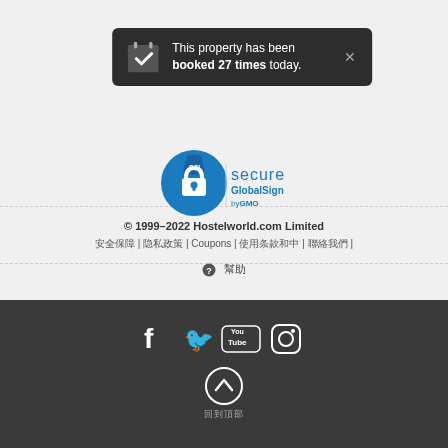[Figure (screenshot): Dark notification popup showing 'This property has been booked 27 times today.' with calendar icon and close X button]
[Figure (logo): SSL Secure GlobalSign by GMO badge with padlock icon]
© 1999–2022 Hostelworld.com Limited
xxxxxxx | xxxxxxxxx | Coupons | xxxxxxxxxx | xxxxxx |
❓ xxx
[Figure (illustration): Social media icons: Facebook, Twitter, YouTube, Instagram]
[Figure (illustration): Back to top arrow button]
xxxxxxx